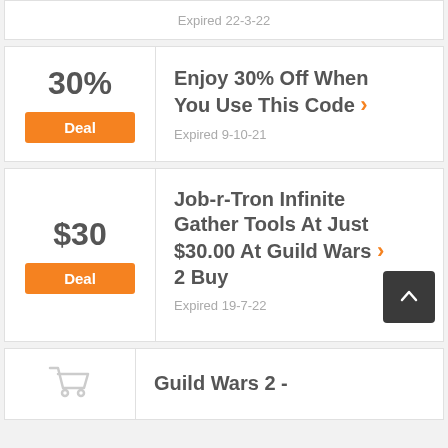Expired 22-3-22
30%
Deal
Enjoy 30% Off When You Use This Code
Expired 9-10-21
$30
Deal
Job-r-Tron Infinite Gather Tools At Just $30.00 At Guild Wars 2 Buy
Expired 19-7-22
Guild Wars 2 -